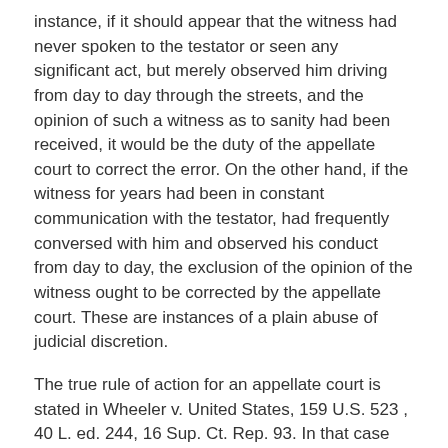instance, if it should appear that the witness had never spoken to the testator or seen any significant act, but merely observed him driving from day to day through the streets, and the opinion of such a witness as to sanity had been received, it would be the duty of the appellate court to correct the error. On the other hand, if the witness for years had been in constant communication with the testator, had frequently conversed with him and observed his conduct from day to day, the exclusion of the opinion of the witness ought to be corrected by the appellate court. These are instances of a plain abuse of judicial discretion.
The true rule of action for an appellate court is stated in Wheeler v. United States, 159 U.S. 523 , 40 L. ed. 244, 16 Sup. Ct. Rep. 93. In that case this court was considering the admissibility, upon the trial of an indictment for murder, of the testimony of a boy five and a [213 U.S. 257, 262] half years old at the time of the trial. The court, speaking by Mr.